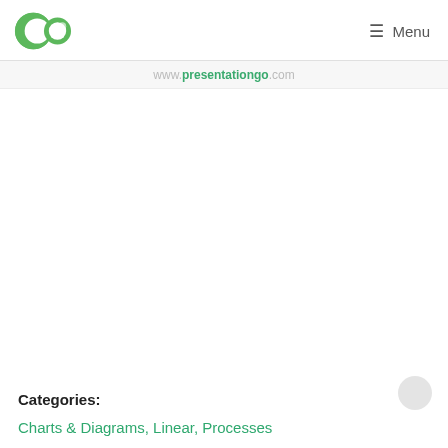GO  Menu
www.presentationgo.com
Categories: Charts & Diagrams, Linear, Processes